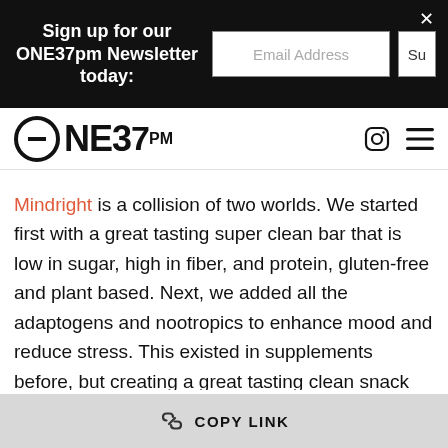Sign up for our ONE37pm Newsletter today:
[Figure (logo): ONE37PM logo with circular icon and text]
Mindright is a collision of two worlds. We started first with a great tasting super clean bar that is low in sugar, high in fiber, and protein, gluten-free and plant based. Next, we added all the adaptogens and nootropics to enhance mood and reduce stress. This existed in supplements before, but creating a great tasting clean snack with these ingredients is the first of its kind. It’s the right time to introduce a product platform to reduce stress and support you on your path to happiness—that’s
COPY LINK